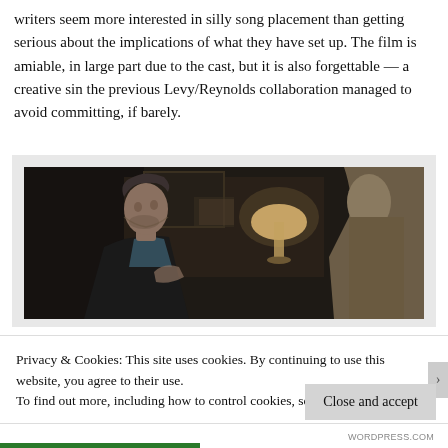writers seem more interested in silly song placement than getting serious about the implications of what they have set up. The film is amiable, in large part due to the cast, but it is also forgettable — a creative sin the previous Levy/Reynolds collaboration managed to avoid committing, if barely.
[Figure (photo): Dark film still showing a man with dark hair in a black jacket looking upward, speaking with someone whose back is turned to the camera, in a dimly lit interior room with a lamp visible in the background.]
Privacy & Cookies: This site uses cookies. By continuing to use this website, you agree to their use.
To find out more, including how to control cookies, see here: Cookie Policy
Close and accept